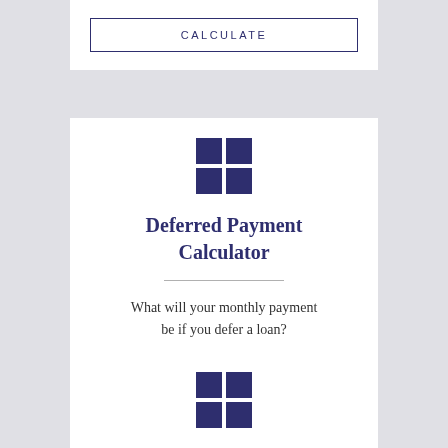CALCULATE
[Figure (infographic): 2x2 grid icon in dark navy blue]
Deferred Payment Calculator
What will your monthly payment be if you defer a loan?
CALCULATE
[Figure (infographic): 2x2 grid icon in dark navy blue]
Future Value/Annuity Calculation